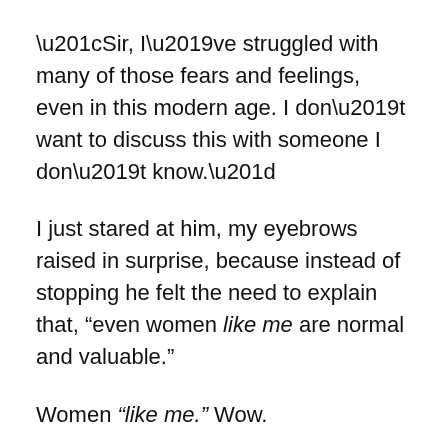“Sir, I’ve struggled with many of those fears and feelings, even in this modern age. I don’t want to discuss this with someone I don’t know.”
I just stared at him, my eyebrows raised in surprise, because instead of stopping he felt the need to explain that, “even women like me are normal and valuable.”
Women “like me.” Wow.
I’m usually not caught off guard easily, but in that moment I was. My husband noticed when he arrived after his run. A quick look of understanding crossed his face as he heard what the man was